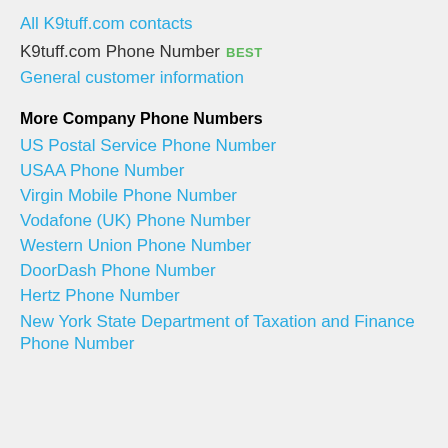All K9tuff.com contacts
K9tuff.com Phone Number  BEST
General customer information
More Company Phone Numbers
US Postal Service Phone Number
USAA Phone Number
Virgin Mobile Phone Number
Vodafone (UK) Phone Number
Western Union Phone Number
DoorDash Phone Number
Hertz Phone Number
New York State Department of Taxation and Finance Phone Number